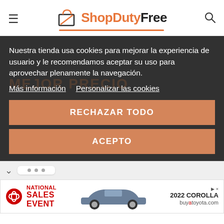[Figure (logo): ShopDutyFree logo with shopping bag icon, orange and dark text, with orange underline]
Nuestra tienda usa cookies para mejorar la experiencia de usuario y le recomendamos aceptar su uso para aprovechar plenamente la navegación.
Más información  Personalizar las cookies
RECHAZAR TODO
ACEPTO
[Figure (screenshot): Toyota National Sales Event advertisement banner with car image and buyatoyota.com, 2022 Corolla]